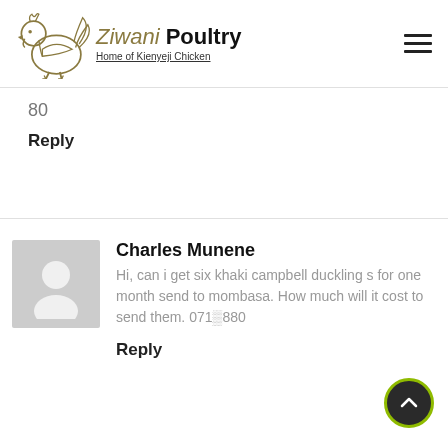[Figure (logo): Ziwani Poultry logo with a hen illustration and text 'Ziwani Poultry - Home of Kienyeji Chicken']
80
Reply
Charles Munene
Hi, can i get six khaki campbell ducklings for one month send to mombasa. How much will it cost to send them. 071…880
Reply